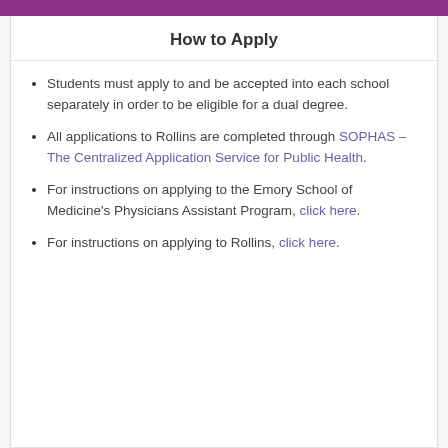How to Apply
Students must apply to and be accepted into each school separately in order to be eligible for a dual degree.
All applications to Rollins are completed through SOPHAS – The Centralized Application Service for Public Health.
For instructions on applying to the Emory School of Medicine's Physicians Assistant Program, click here.
For instructions on applying to Rollins, click here.